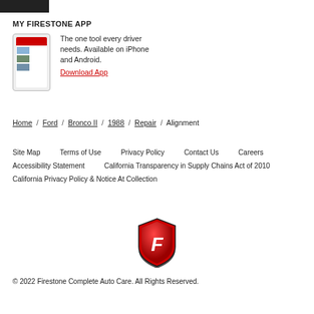[Figure (screenshot): Cropped top of a dark/black bar element, partial image]
MY FIRESTONE APP
[Figure (photo): Smartphone showing Firestone app with red header and content rows]
The one tool every driver needs. Available on iPhone and Android. Download App
Home / Ford / Bronco II / 1988 / Repair / Alignment
Site Map    Terms of Use    Privacy Policy    Contact Us    Careers
Accessibility Statement    California Transparency in Supply Chains Act of 2010
California Privacy Policy & Notice At Collection
[Figure (logo): Firestone shield logo — red shield with white F]
© 2022 Firestone Complete Auto Care. All Rights Reserved.